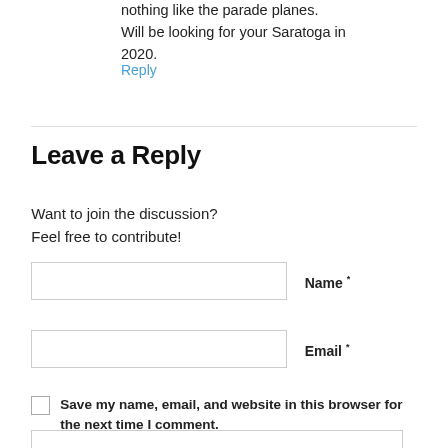nothing like the parade planes.
Will be looking for your Saratoga in 2020.
Reply
Leave a Reply
Want to join the discussion?
Feel free to contribute!
Name *
Email *
Save my name, email, and website in this browser for the next time I comment.